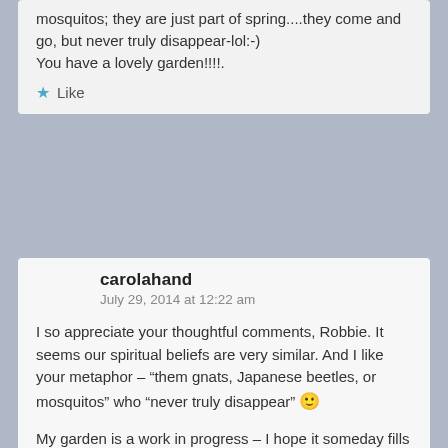mosquitos; they are just part of spring....they come and go, but never truly disappear-lol:-)
You have a lovely garden!!!!.
Like
carolahand
July 29, 2014 at 12:22 am
I so appreciate your thoughtful comments, Robbie. It seems our spiritual beliefs are very similar. And I like your metaphor – "them gnats, Japanese beetles, or mosquitos" who "never truly disappear" 🙂
My garden is a work in progress – I hope it someday fills the whole yard like yours.
Like